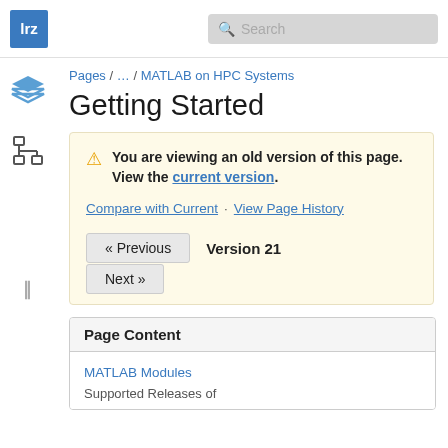[Figure (logo): LRZ logo - blue square with white 'lrz' text]
[Figure (screenshot): Search box with magnifying glass icon]
[Figure (illustration): Blue layered pages icon in left sidebar]
[Figure (illustration): Tree/hierarchy icon in left sidebar]
Pages / ... / MATLAB on HPC Systems
Getting Started
You are viewing an old version of this page. View the current version.
Compare with Current · View Page History
« Previous  Version 21
Next »
Page Content
MATLAB Modules
Supported Releases of